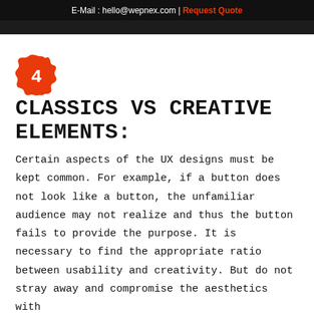E-Mail : hello@wepnex.com | Request Quote
[Figure (other): Red ink splat / badge with number 4 in white]
CLASSICS VS CREATIVE ELEMENTS:
Certain aspects of the UX designs must be kept common. For example, if a button does not look like a button, the unfamiliar audience may not realize and thus the button fails to provide the purpose. It is necessary to find the appropriate ratio between usability and creativity. But do not stray away and compromise the aesthetics with...